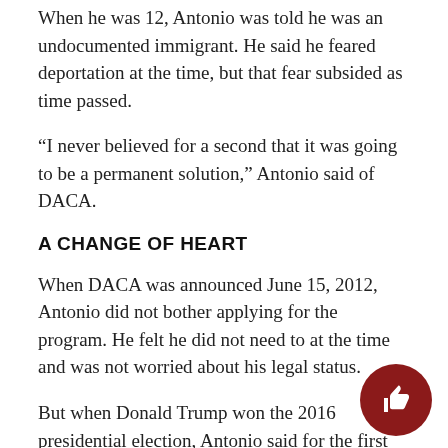When he was 12, Antonio was told he was an undocumented immigrant. He said he feared deportation at the time, but that fear subsided as time passed.
“I never believed for a second that it was going to be a permanent solution,” Antonio said of DACA.
A CHANGE OF HEART
When DACA was announced June 15, 2012, Antonio did not bother applying for the program. He felt he did not need to at the time and was not worried about his legal status.
But when Donald Trump won the 2016 presidential election, Antonio said for the first time in his life, he felt he had to apply in order to guarantee his place in the U.S.